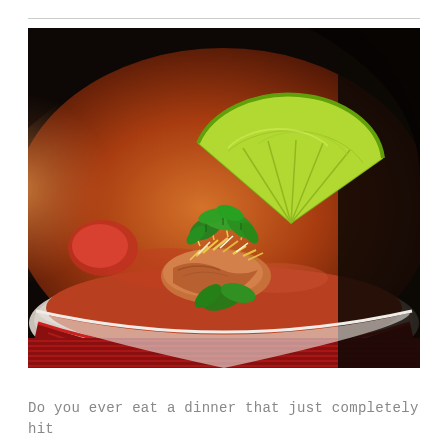[Figure (photo): A close-up photograph of a bowl of soup (tortilla soup) garnished with a lime wedge, shredded cheese, and fresh cilantro. The bowl has a red/maroon patterned exterior and sits on a red ribbed surface.]
Do you ever eat a dinner that just completely hit